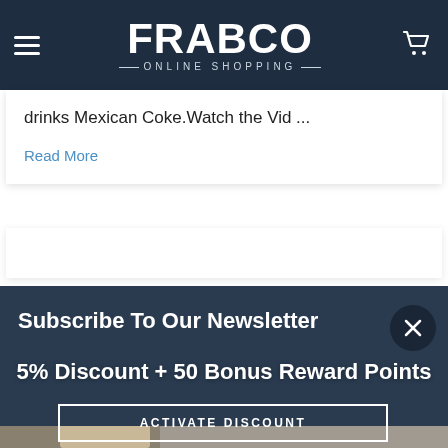FRABCO ONLINE SHOPPING
drinks  Mexican Coke.Watch the Vid ...
Read More
Subscribe To Our Newsletter
5% Discount + 50 Bonus Reward Points
ACTIVATE DISCOUNT